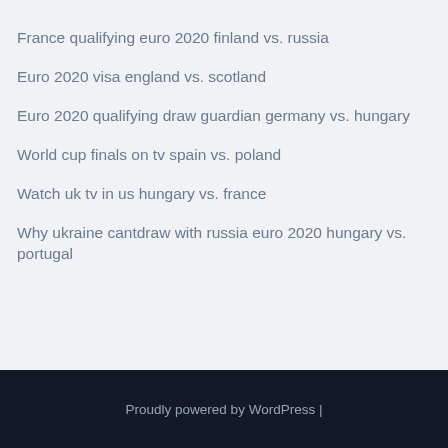France qualifying euro 2020 finland vs. russia
Euro 2020 visa england vs. scotland
Euro 2020 qualifying draw guardian germany vs. hungary
World cup finals on tv spain vs. poland
Watch uk tv in us hungary vs. france
Why ukraine cantdraw with russia euro 2020 hungary vs. portugal
Proudly powered by WordPress |